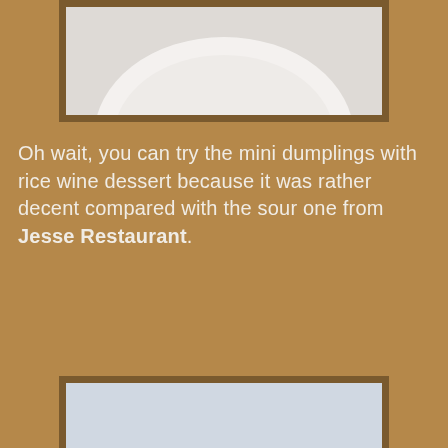[Figure (photo): Partial top image showing a white plate or dish on a brown/tan background, cropped at the top of the page]
Oh wait, you can try the mini dumplings with rice wine dessert because it was rather decent compared with the sour one from Jesse Restaurant.
[Figure (photo): Close-up photo of a white ceramic spoon or bowl containing small round white dumplings (tang yuan) with scattered yellow osmanthus flowers in a milky white rice wine soup]